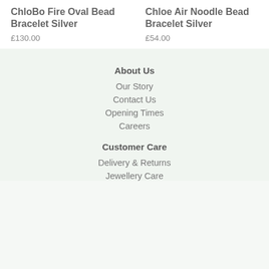ChloBo Fire Oval Bead Bracelet Silver
£130.00
Chloe Air Noodle Bead Bracelet Silver
£54.00
About Us
Our Story
Contact Us
Opening Times
Careers
Customer Care
Delivery & Returns
Jewellery Care